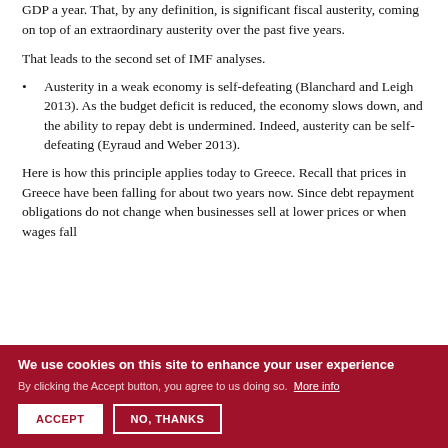GDP a year. That, by any definition, is significant fiscal austerity, coming on top of an extraordinary austerity over the past five years.
That leads to the second set of IMF analyses.
Austerity in a weak economy is self-defeating (Blanchard and Leigh 2013). As the budget deficit is reduced, the economy slows down, and the ability to repay debt is undermined. Indeed, austerity can be self-defeating (Eyraud and Weber 2013).
Here is how this principle applies today to Greece. Recall that prices in Greece have been falling for about two years now. Since debt repayment obligations do not change when businesses sell at lower prices or when wages fall
We use cookies on this site to enhance your user experience
By clicking the Accept button, you agree to us doing so. More info
ACCEPT
NO, THANKS